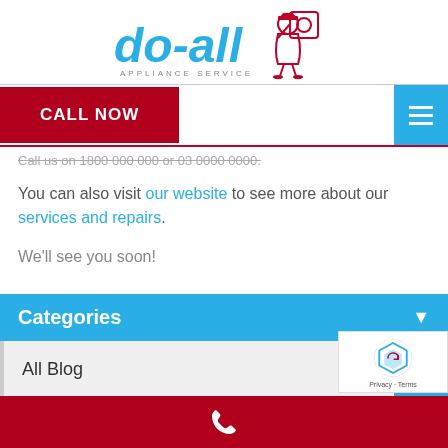[Figure (logo): do-all Appliance Service logo with cartoon repairman holding appliance]
CALL NOW
Call us on 1800 000 000 or 03 0000 0000.
You can also visit our website to see more about our services and repairs.
We'll see you soon!
Categories
All Blog
Phone footer bar